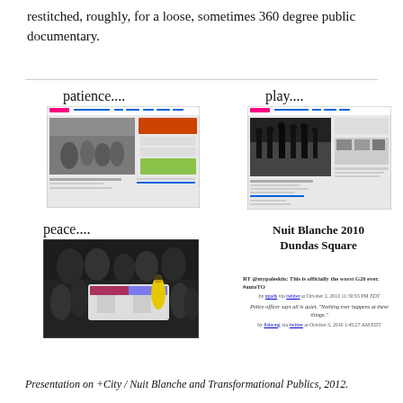restitched, roughly, for a loose, sometimes 360 degree public documentary.
[Figure (screenshot): Flickr page screenshot for 'patience' - shows a crowd of people inside what appears to be a transit station]
[Figure (screenshot): Flickr page screenshot for 'play' - shows silhouettes of people in a park at night, black and white]
[Figure (photo): Photo of a crowd around a police car at night, someone in a yellow jacket visible - labeled 'peace']
RT @mypaleskin: This is officially the worst G20 ever. #antoTO
by npads via twitter at October 2, 2010 11:30:55 PM EDT

Police officer says all is quiet. "Nothing ever happens at these things."
by lisleong via twitter at October 3, 2010 1:45:27 AM EDT
Nuit Blanche 2010 Dundas Square
Presentation on +City / Nuit Blanche and Transformational Publics, 2012.